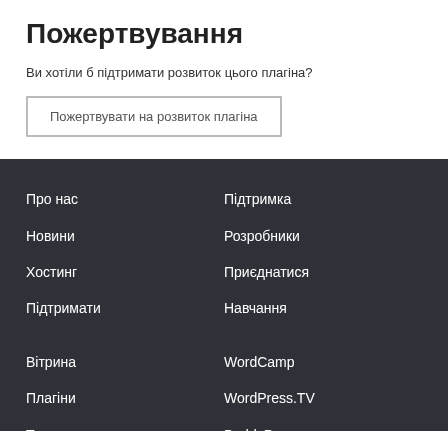Пожертвування
Ви хотіли б підтримати розвиток цього плагіна?
Пожертвувати на розвиток плагіна
Про нас
Підтримка
Новини
Розробники
Хостинг
Приєднатися
Підтримати
Навчання
Вітрина
WordCamp
Плагіни
WordPress.TV
Теми
BuddyPress